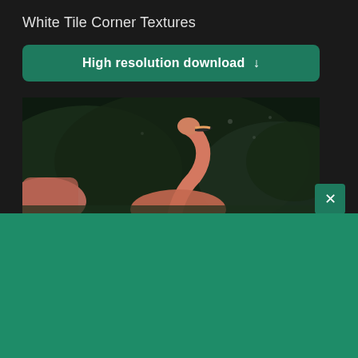White Tile Corner Textures
High resolution download ↓
[Figure (photo): Flamingos photo with dark background showing flamingos with orange-pink plumage against dark greenery]
[Figure (logo): Shopify logo with shopping bag icon and italic shopify text in white]
Need an online store for your business?
Start free trial